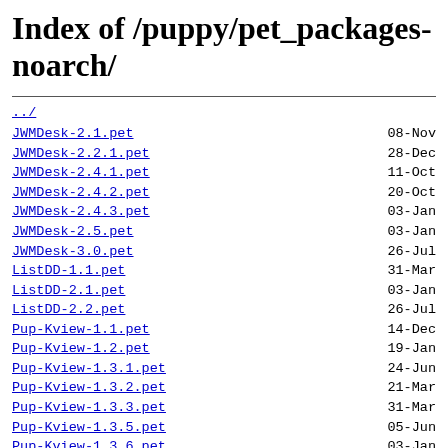Index of /puppy/pet_packages-noarch/
../
JWMDesk-2.1.pet   08-Nov
JWMDesk-2.2.1.pet   28-Dec
JWMDesk-2.4.1.pet   11-Oct
JWMDesk-2.4.2.pet   20-Oct
JWMDesk-2.4.3.pet   03-Jan
JWMDesk-2.5.pet   03-Jan
JWMDesk-3.0.pet   26-Jul
ListDD-1.1.pet   31-Mar
ListDD-2.1.pet   03-Jan
ListDD-2.2.pet   26-Jul
Pup-Kview-1.1.pet   14-Dec
Pup-Kview-1.2.pet   19-Jan
Pup-Kview-1.3.1.pet   24-Jun
Pup-Kview-1.3.2.pet   21-Mar
Pup-Kview-1.3.3.pet   31-Mar
Pup-Kview-1.3.5.pet   05-Jun
Pup-Kview-1.3.6.pet   03-Jan
Pup-Kview-1.3.pet   05-Feb
Pup-Kview-1.4.pet   26-Jul
Pup-SysInfo-2.3.1.pet   14-Dec
Pup-SysInfo-2.4.2.pet   24-Jun